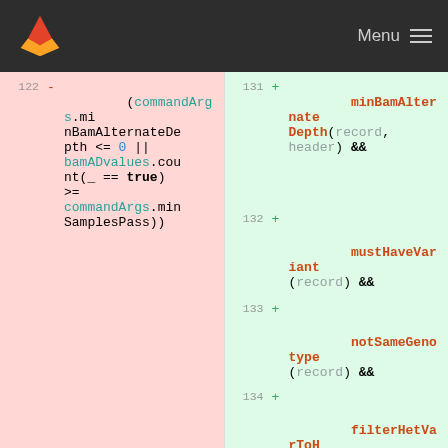GitLab navigation bar with logo and Menu button
[Figure (screenshot): Code diff view showing removed lines (left, pink background, line 122) with code: (commandArgs.minBamAlternateDepth <= 0 || bamADvalues.count(_ == true) >= commandArgs.minSamplesPass)) and added lines (right, green background, lines 131-135) with: minBamAlternateDepth(record, header) && , mustHaveVariant(record) && , notSameGenotype(record) && , filterHetVarToHomVar(record) && ]